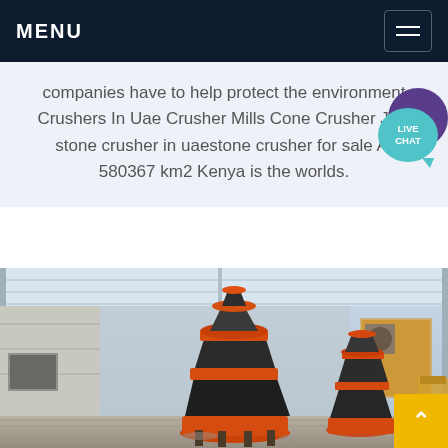MENU
companies have to help protect the environment Crushers In Uae Crusher Mills Cone Crusher Jaw stone crusher in uaestone crusher for sale At 580367 km2 Kenya is the worlds.
[Figure (photo): Industrial cone crushers displayed inside a large warehouse/tent structure with white roof. Two large black and orange cone crusher machines visible, with industrial equipment in the background.]